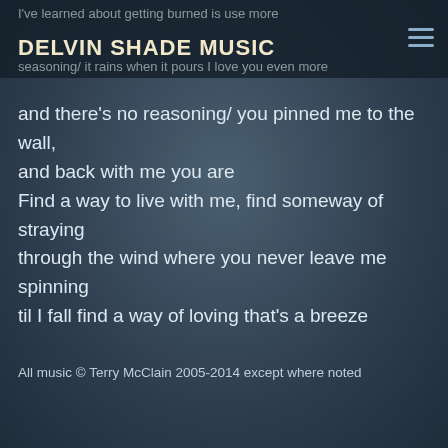DELVIN SHADE MUSIC
I've learned about getting burned is use more seasoning/ it rains when it pours I love you even more
and there's no reasoning/ you pinned me to the wall, and back with me you are
Find a way to live with me, find someway of straying through the wind where you never leave me spinning til I fall find a way of loving that's a breeze
All music © Terry McClain 2005-2014 except where noted